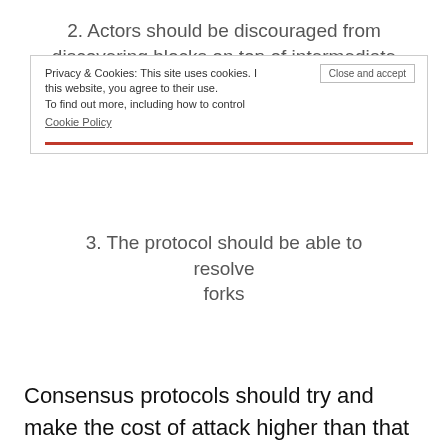2. Actors should be discouraged from discovering blocks on top of intermediate chains (hence that are not the longest)
3. The protocol should be able to resolve forks
Consensus protocols should try and make the cost of attack higher than that of defence in order to provide a defender's advantage in maintaining the network. The most obvious costs are economic and these are relatively easy to evaluate. However, economics is not everything and in reality actors will often be influenced by their own moral and ethical viewpoints. In addition, there are always communication inefficiencies across a network. This means that in most cases the costs of an attack will usually be